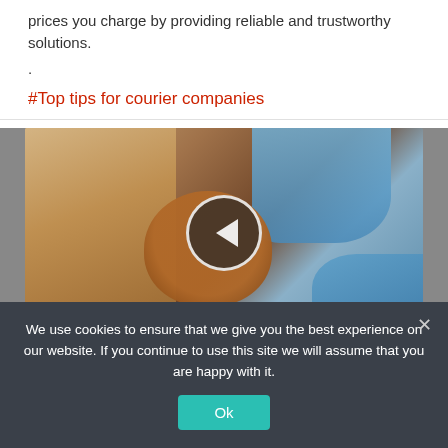prices you charge by providing reliable and trustworthy solutions.
.
#Top tips for courier companies
[Figure (photo): Photo of a baby orangutan or small primate being examined by gloved hands, with a video play/navigation button overlay (left chevron in a circle).]
We use cookies to ensure that we give you the best experience on our website. If you continue to use this site we will assume that you are happy with it.